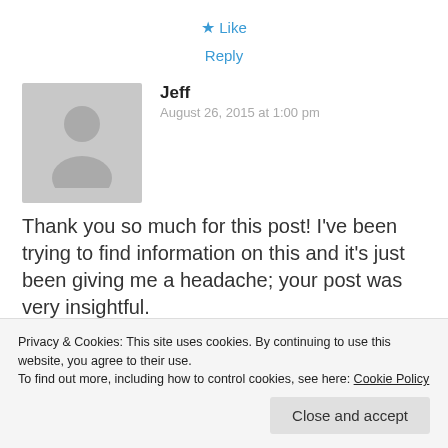★ Like
Reply
Jeff
August 26, 2015 at 1:00 pm
Thank you so much for this post! I've been trying to find information on this and it's just been giving me a headache; your post was very insightful.
Quick dumb question: if you use your
Privacy & Cookies: This site uses cookies. By continuing to use this website, you agree to their use. To find out more, including how to control cookies, see here: Cookie Policy
Close and accept
about any of this stuff and would